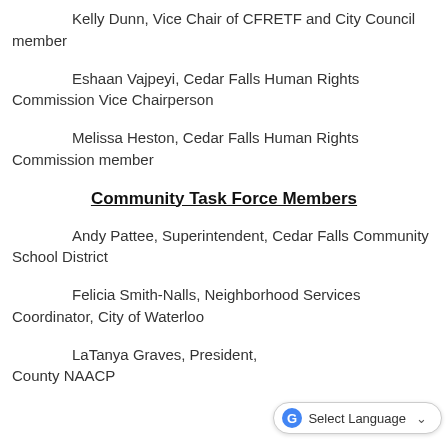Kelly Dunn, Vice Chair of CFRETF and City Council member
Eshaan Vajpeyi, Cedar Falls Human Rights Commission Vice Chairperson
Melissa Heston, Cedar Falls Human Rights Commission member
Community Task Force Members
Andy Pattee, Superintendent, Cedar Falls Community School District
Felicia Smith-Nalls, Neighborhood Services Coordinator, City of Waterloo
LaTanya Graves, President, [Black Hawk] County NAACP